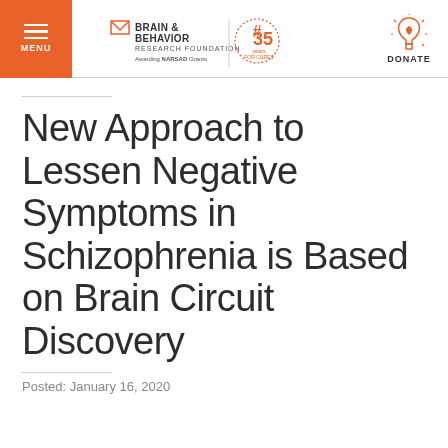MENU | BRAIN & BEHAVIOR RESEARCH FOUNDATION Awarding NARSAD Grants # 35 years FOR CURES | DONATE
New Approach to Lessen Negative Symptoms in Schizophrenia is Based on Brain Circuit Discovery
Posted: January 16, 2020